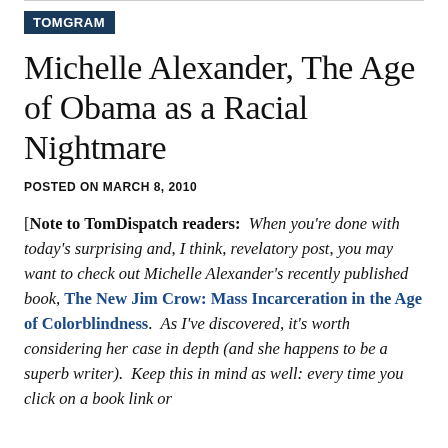TOMGRAM
Michelle Alexander, The Age of Obama as a Racial Nightmare
POSTED ON MARCH 8, 2010
[Note to TomDispatch readers:  When you're done with today's surprising and, I think, revelatory post, you may want to check out Michelle Alexander's recently published book, The New Jim Crow: Mass Incarceration in the Age of Colorblindness.  As I've discovered, it's worth considering her case in depth (and she happens to be a superb writer).  Keep this in mind as well: every time you click on a book link or